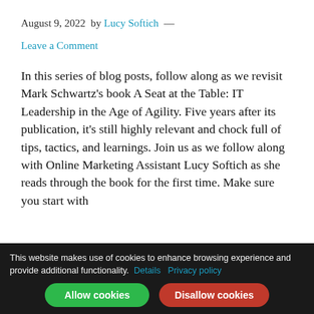August 9, 2022  by Lucy Softich  —  Leave a Comment
In this series of blog posts, follow along as we revisit Mark Schwartz's book A Seat at the Table: IT Leadership in the Age of Agility. Five years after its publication, it's still highly relevant and chock full of tips, tactics, and learnings. Join us as we follow along with Online Marketing Assistant Lucy Softich as she reads through the book for the first time. Make sure you start with
This website makes use of cookies to enhance browsing experience and provide additional functionality. Details Privacy policy Allow cookies Disallow cookies